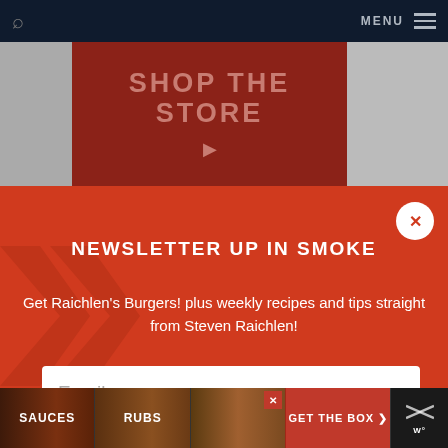MENU
SHOP THE STORE
NEWSLETTER UP IN SMOKE
Get Raichlen's Burgers! plus weekly recipes and tips straight from Steven Raichlen!
Email
SAUCES   RUBS   GET THE BOX >